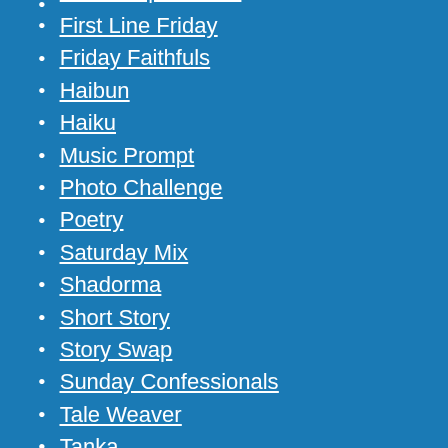First Line Friday
Friday Faithfuls
Haibun
Haiku
Music Prompt
Photo Challenge
Poetry
Saturday Mix
Shadorma
Short Story
Story Swap
Sunday Confessionals
Tale Weaver
Tanka
Uncategorized
Unfinished Business